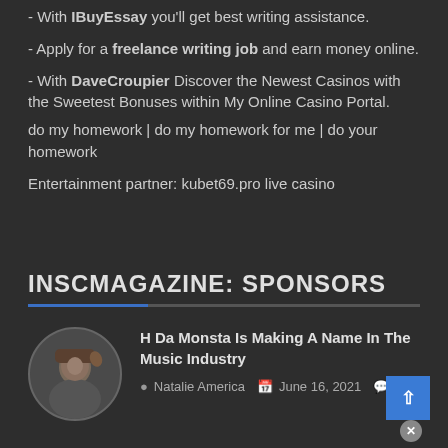- With IBuyEssay you'll get best writing assistance.
- Apply for a freelance writing job and earn money online.
- With DaveCroupier Discover the Newest Casinos with the Sweetest Bonuses within My Online Casino Portal.
do my homework | do my homework for me | do your homework
Entertainment partner: kubet69.pro live casino
INSCMAGAZINE: SPONSORS
H Da Monsta Is Making A Name In The Music Industry
Natalie America   June 16, 2021